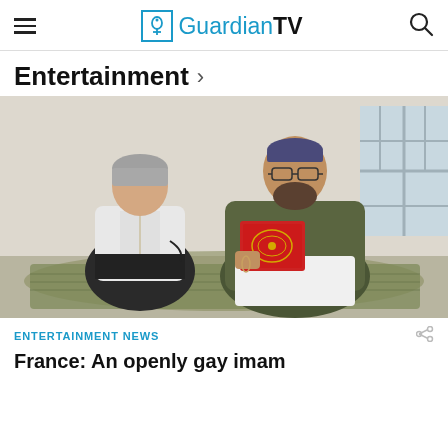GuardianTV
Entertainment >
[Figure (photo): Two people sitting cross-legged on prayer rugs on the floor. On the left is an older woman with grey hair wearing a white outfit. On the right is a young bearded man wearing glasses, a dark olive shirt, and white trousers, holding a red Quran book.]
ENTERTAINMENT NEWS
France: An openly gay imam